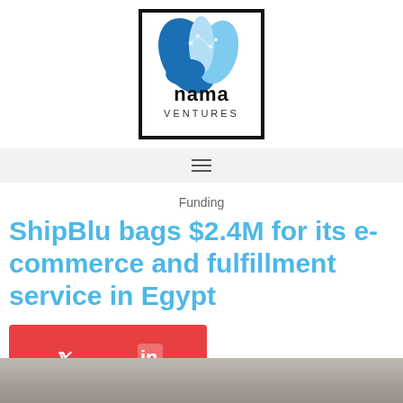[Figure (logo): Nama Ventures logo — stylized blue leaf/circuit design above text 'nama VENTURES' in a black border box]
[Figure (other): Navigation bar with hamburger menu icon (three horizontal lines)]
Funding
ShipBlu bags $2.4M for its e-commerce and fulfillment service in Egypt
[Figure (other): Red social sharing bar with Twitter and LinkedIn icons]
[Figure (photo): Partial photo strip at bottom of page, appears to show a blurred light-colored surface]